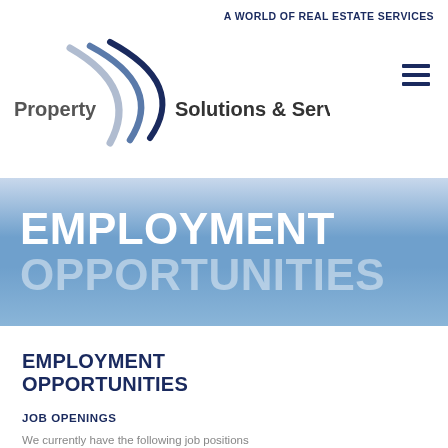A WORLD OF REAL ESTATE SERVICES
[Figure (logo): Property Solutions & Services, Inc logo with wave/arc swoosh graphic in dark blue, company name in sans-serif text]
[Figure (other): Hamburger/menu icon — three horizontal dark navy bars]
[Figure (illustration): Blue gradient banner with large white bold text reading EMPLOYMENT OPPORTUNITIES (second line in semi-transparent white)]
EMPLOYMENT OPPORTUNITIES
JOB OPENINGS
We currently have the following job positions